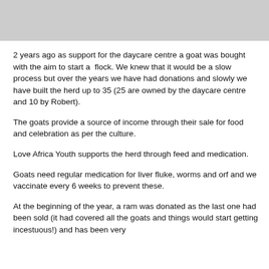[Figure (other): Gray header banner at the top of the page]
2 years ago as support for the daycare centre a goat was bought with the aim to start a  flock. We knew that it would be a slow process but over the years we have had donations and slowly we have built the herd up to 35 (25 are owned by the daycare centre and 10 by Robert).
The goats provide a source of income through their sale for food and celebration as per the culture.
Love Africa Youth supports the herd through feed and medication.
Goats need regular medication for liver fluke, worms and orf and we vaccinate every 6 weeks to prevent these.
At the beginning of the year, a ram was donated as the last one had been sold (it had covered all the goats and things would start getting incestuous!) and has been very